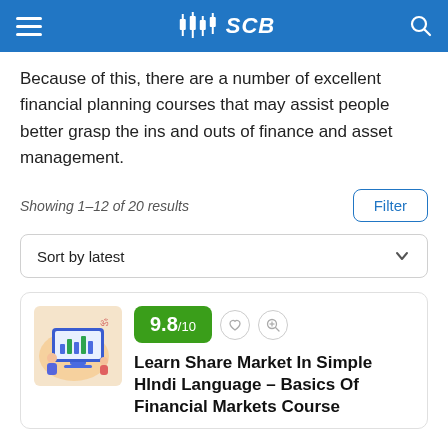SCB
Because of this, there are a number of excellent financial planning courses that may assist people better grasp the ins and outs of finance and asset management.
Showing 1–12 of 20 results
Sort by latest
[Figure (illustration): Course thumbnail showing a person in front of a computer monitor with charts, on a light orange background]
9.8/10
Learn Share Market In Simple HIndi Language – Basics Of Financial Markets Course